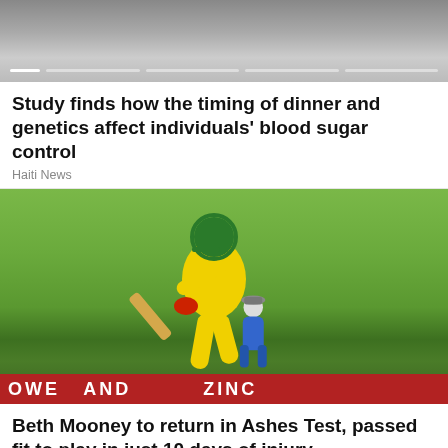[Figure (photo): Top portion of a news article image with progress indicator dots/bars at bottom]
Study finds how the timing of dinner and genetics affect individuals' blood sugar control
Haiti News
[Figure (photo): Cricket player Beth Mooney in yellow Australian cricket uniform batting, with red advertising banner at bottom reading partial text]
Beth Mooney to return in Ashes Test, passed fit to play in just 10 days of injury